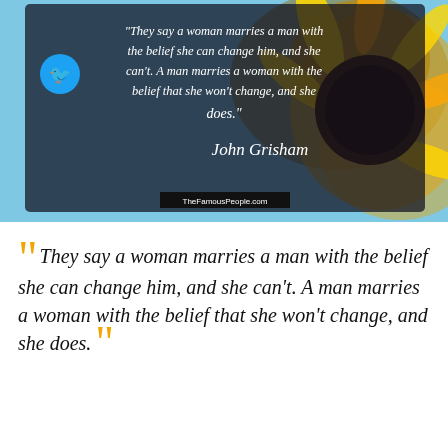[Figure (photo): Sunflower background with dark semi-transparent overlay showing a Twitter-shared quote card. White italic text reads: "They say a woman marries a man with the belief she can change him, and she can't. A man marries a woman with the belief that she won't change, and she does." with John Grisham signature and TheFamousPeople.com watermark. Twitter bird icon in top-left of the card.]
“They say a woman marries a man with the belief she can change him, and she can't. A man marries a woman with the belief that she won't change, and she does.”
John Grisham
Change
Belief
THEFAMOUSPEOPLE
John Grisham
[Figure (photo): Green grass/plant background with Pinterest icon (red circle with white P).]